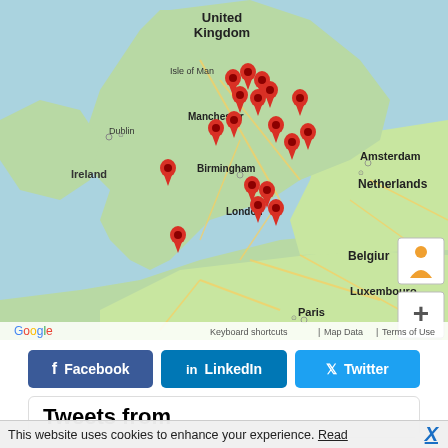[Figure (map): Google Maps screenshot showing United Kingdom and surrounding regions (Ireland, Netherlands, Belgium, Luxembourg, France) with multiple red location pins clustered around Manchester, Birmingham, and London areas. Map includes standard Google Maps UI controls (street view person icon, zoom +/-, and map attribution bar with Keyboard shortcuts, Map Data, Terms of Use).]
f Facebook
in LinkedIn
Twitter
Tweets from
This website uses cookies to enhance your experience. Read